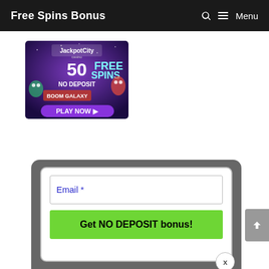Free Spins Bonus   🔍  ≡ Menu
[Figure (photo): JackpotCity Casino banner advertising 50 FREE SPINS NO DEPOSIT on Boom Galaxy game with PLAY NOW button]
[Figure (screenshot): Email signup form with 'Email *' field and 'Get NO DEPOSIT bonus!' green button, inside a dark grey rounded modal with a close (x) button]